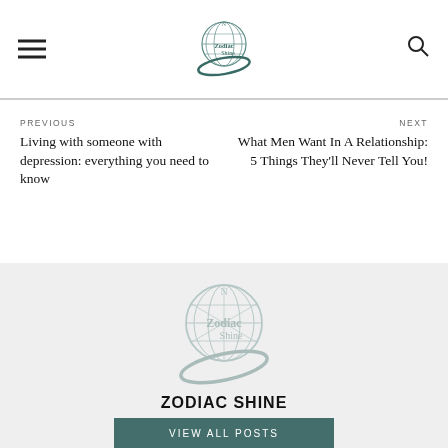Zodiac Shine - Navigation header with logo
PREVIOUS
Living with someone with depression: everything you need to know
NEXT
What Men Want In A Relationship: 5 Things They'll Never Tell You!
[Figure (logo): Zodiac Shine circular logo with globe and orbiting ring]
ZODIAC SHINE
VIEW ALL POSTS